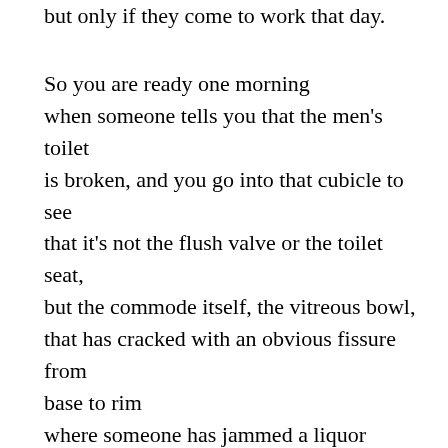but only if they come to work that day.
So you are ready one morning
when someone tells you that the men's toilet
is broken, and you go into that cubicle to see
that it's not the flush valve or the toilet seat,
but the commode itself, the vitreous bowl,
that has cracked with an obvious fissure from
base to rim
where someone has jammed a liquor bottle
upside down in the drain and evidently stepped
on the base of it
hoping that the bottle, not the commode,
would break apart and flush away
so that the bottle would not be found in the
trash